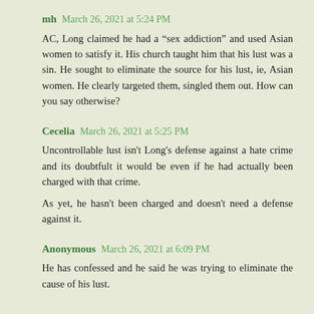mh  March 26, 2021 at 5:24 PM
AC, Long claimed he had a “sex addiction” and used Asian women to satisfy it. His church taught him that his lust was a sin. He sought to eliminate the source for his lust, ie, Asian women. He clearly targeted them, singled them out. How can you say otherwise?
Cecelia  March 26, 2021 at 5:25 PM
Uncontrollable lust isn't Long's defense against a hate crime and its doubtfult it would be even if he had actually been charged with that crime.
As yet, he hasn't been charged and doesn't need a defense against it.
Anonymous  March 26, 2021 at 6:09 PM
He has confessed and he said he was trying to eliminate the cause of his lust.